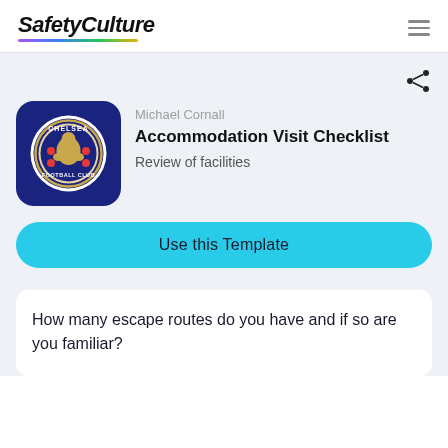SafetyCulture
Michael Cornall
Accommodation Visit Checklist
Review of facilities
Use this Template
How many escape routes do you have and if so are you familiar?